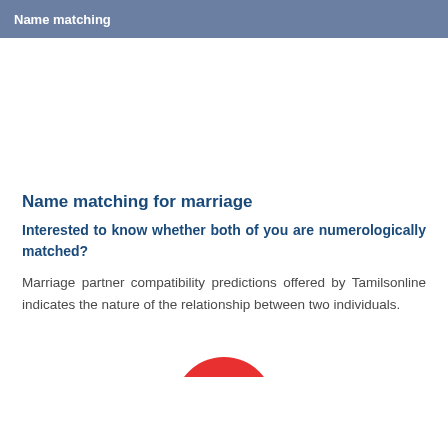Name matching
Name matching for marriage
Interested to know whether both of you are numerologically matched?
Marriage partner compatibility predictions offered by Tamilsonline indicates the nature of the relationship between two individuals.
[Figure (illustration): Partial red circle graphic visible at bottom of page]